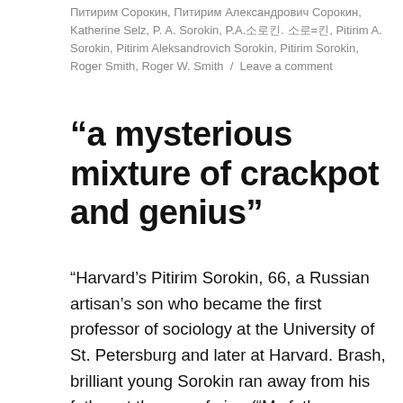Питирим Сорокин, Питирим Александрович Сорокин, Katherine Selz, P. A. Sorokin, P.A.소로킨. 소로=킨, Pitirim A. Sorokin, Pitirim Aleksandrovich Sorokin, Pitirim Sorokin, Roger Smith, Roger W. Smith / Leave a comment
“a mysterious mixture of crackpot and genius”
“Harvard’s Pitirim Sorokin, 66, a Russian artisan’s son who became the first professor of sociology at the University of St. Petersburg and later at Harvard. Brash, brilliant young Sorokin ran away from his father at the age of nine (“My father was good man, except when